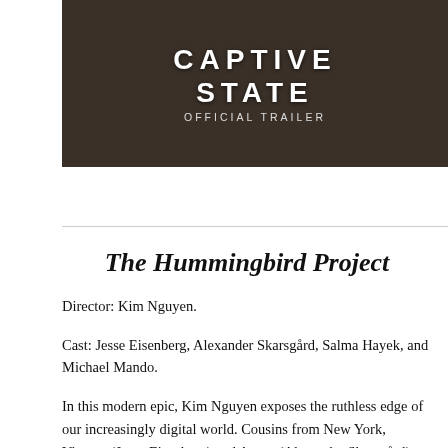[Figure (screenshot): Thumbnail image for 'Captive State Official Trailer' showing dark cinematic scene with text overlay reading 'CAPTIVE STATE OFFICIAL TRAILER' in white bold letters on dark background.]
The Hummingbird Project
Director: Kim Nguyen.
Cast: Jesse Eisenberg, Alexander Skarsgård, Salma Hayek, and Michael Mando.
In this modern epic, Kim Nguyen exposes the ruthless edge of our increasingly digital world. Cousins from New York, Vincent (Jesse Eisenberg) and Anton (Alexander Skarsgård) are players in the high-stakes game of High-Frequency Trading, where winning is measured in milliseconds. Their dream? To build a straight fiber-optic cable line between Kansas and New Jersey, making them millions. But nothing is straightforward for this